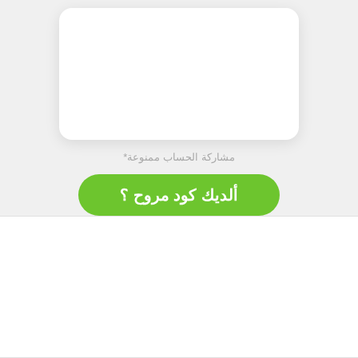[Figure (screenshot): White rounded card UI element at the top of the page]
مشاركة الحساب ممنوعة*
ألديك كود مروح ؟
Need a Static IP?
[Figure (screenshot): Partially visible Learn button with green border and green robot/chat icon circle overlapping it]